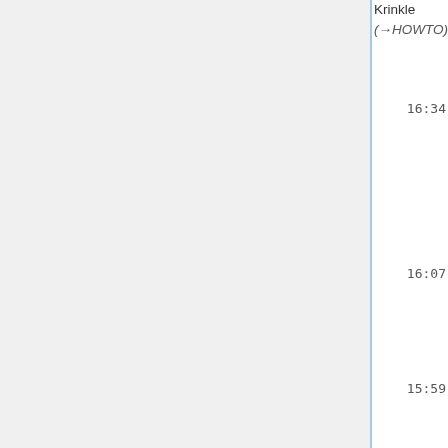Krinkle (→HOWTO)
16:34 Nova Resource:Tools/SA (diff | hist) . . (+210) . . Stashbot (taavi: kubectl sudo delete cm -n tool-wdml maintain-kubeusers # T315459)
16:07 Analytics/Pageview (diff | hist) . . (+72) Aklapper (Link to Analytics/Data Lake/Traffic/Pagev…
15:59 Analytics/Data Lake/Traffic/Pagev… (diff | hist) . . (–80) Aklapper (Wikipeod… Zero was discontin…